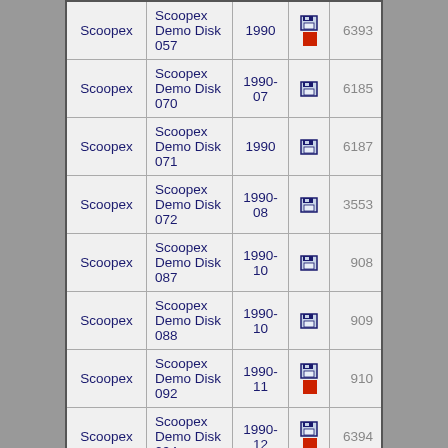| Group | Name | Year | Icons | ID |
| --- | --- | --- | --- | --- |
| Scoopex | Scoopex Demo Disk 057 | 1990 | [disk][red] | 6393 |
| Scoopex | Scoopex Demo Disk 070 | 1990-07 | [disk] | 6185 |
| Scoopex | Scoopex Demo Disk 071 | 1990 | [disk] | 6187 |
| Scoopex | Scoopex Demo Disk 072 | 1990-08 | [disk] | 3553 |
| Scoopex | Scoopex Demo Disk 087 | 1990-10 | [disk] | 908 |
| Scoopex | Scoopex Demo Disk 088 | 1990-10 | [disk] | 909 |
| Scoopex | Scoopex Demo Disk 092 | 1990-11 | [disk][red] | 910 |
| Scoopex | Scoopex Demo Disk 094 | 1990-12 | [disk][red] | 6394 |